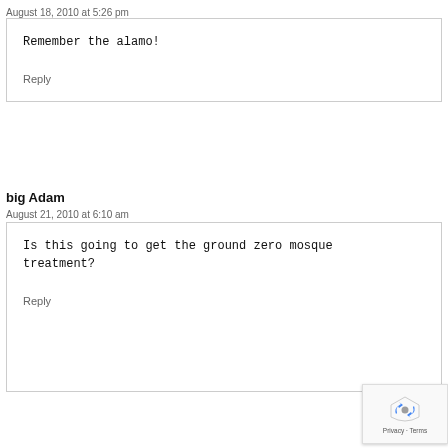August 18, 2010 at 5:26 pm
Remember the alamo!
Reply
big Adam
August 21, 2010 at 6:10 am
Is this going to get the ground zero mosque treatment?
Reply